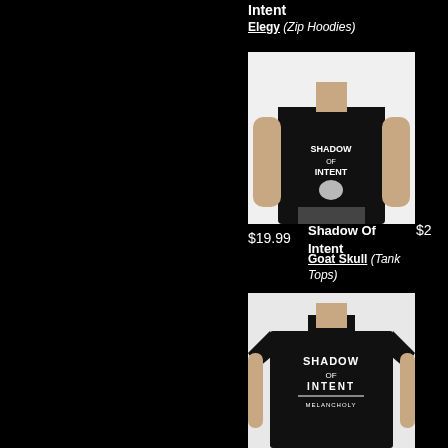Intent
Elegy (Zip Hoodies)
[Figure (photo): Person wearing a black tank top with 'Shadow of Intent' goat skull graphic design]
$19.99
Shadow Of Intent
Goat Skull (Tank Tops)
$2...
[Figure (photo): Person wearing a black t-shirt with 'Shadow of Intent Melancholy' graphic design]